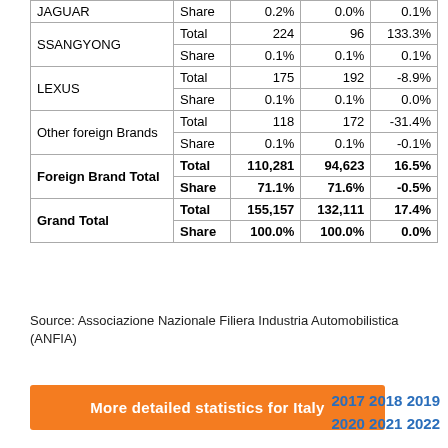| Brand |  | 2020 | 2019 | % Change |
| --- | --- | --- | --- | --- |
| JAGUAR | Share | 0.2% | 0.0% | 0.1% |
| SSANGYONG | Total | 224 | 96 | 133.3% |
| SSANGYONG | Share | 0.1% | 0.1% | 0.1% |
| LEXUS | Total | 175 | 192 | -8.9% |
| LEXUS | Share | 0.1% | 0.1% | 0.0% |
| Other foreign Brands | Total | 118 | 172 | -31.4% |
| Other foreign Brands | Share | 0.1% | 0.1% | -0.1% |
| Foreign Brand Total | Total | 110,281 | 94,623 | 16.5% |
| Foreign Brand Total | Share | 71.1% | 71.6% | -0.5% |
| Grand Total | Total | 155,157 | 132,111 | 17.4% |
| Grand Total | Share | 100.0% | 100.0% | 0.0% |
Source: Associazione Nazionale Filiera Industria Automobilistica (ANFIA)
More detailed statistics for Italy
2017 2018 2019 2020 2021 2022